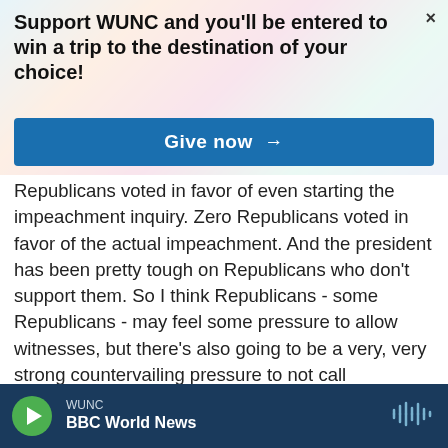Support WUNC and you'll be entered to win a trip to the destination of your choice!
[Figure (screenshot): Blue 'Give now →' button on banner]
Republicans voted in favor of even starting the impeachment inquiry. Zero Republicans voted in favor of the actual impeachment. And the president has been pretty tough on Republicans who don't support them. So I think Republicans - some Republicans - may feel some pressure to allow witnesses, but there's also going to be a very, very strong countervailing pressure to not call witnesses.
WUNC BBC World News